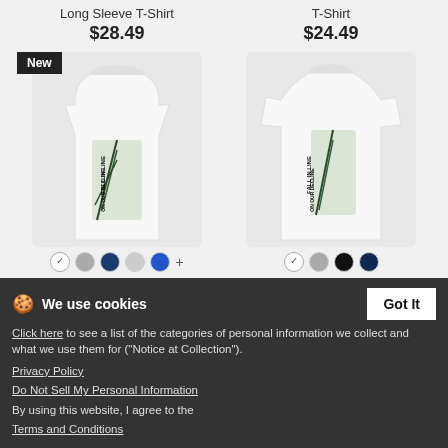Long Sleeve T-Shirt
$28.49
T-Shirt
$24.49
[Figure (photo): White men's premium tank top with palm leaf / 'Fall In Line On Our Decline' graphic design. New badge in top left.]
[Figure (photo): White women's long sleeve T-shirt with palm leaf / 'Fall In Line On Our Decline' graphic design.]
Decline - Men's Premium Tank
$25.99
Decline - Women's Long Sleeve T-Shirt
$25.99
We use cookies
Click here to see a list of the categories of personal information we collect and what we use them for ("Notice at Collection").
Privacy Policy
Do Not Sell My Personal Information
By using this website, I agree to the Terms and Conditions